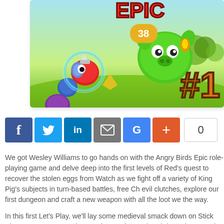[Figure (screenshot): Angry Birds Epic role-playing game screenshot showing game characters including a red bird in knight armor and a large green pig, with '#1' displayed on the right side and colorful medieval landscape background]
[Figure (infographic): Social sharing buttons row: Facebook (blue, f), Twitter (blue, bird icon), LinkedIn (blue, in), Email (grey, envelope), Google+ (blue, G), Share/Plus (orange-red, +), followed by a share count box showing 0]
We got Wesley Williams to go hands on with the Angry Birds Epic role-playing game and delve deep into the first levels of Red's quest to recover the stolen eggs from Watch as we fight off a variety of King Pig's subjects in turn-based battles, free Ch evil clutches, explore our first dungeon and craft a new weapon with all the loot we the way.
In this first Let's Play, we'll lay some medieval smack down on Stick Pig, Rogue, R Brute, Pig Guard, Guard Captain, Bird Catcher. Watch as Red and Chuck fight thr Beach, Pig Prison and Cobalt Plateaus facing down against single and multiple en